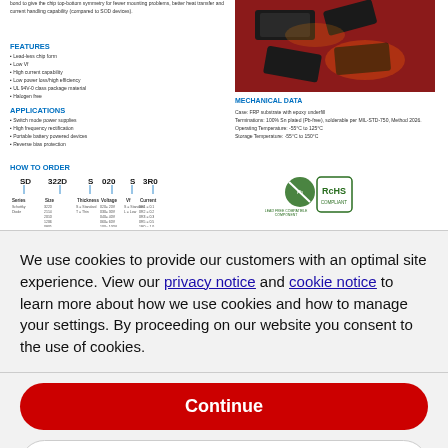bond to give the chip top-bottom symmetry for fewer mounting problems, better heat transfer and current handling capability (compared to SOD devices).
FEATURES
Lead-less chip form
Low Vf
High current capability
Low power loss/high efficiency
UL 94V-0 class package material
Halogen free
APPLICATIONS
Switch mode power supplies
High frequency rectification
Portable battery powered devices
Reverse bias protection
[Figure (photo): Photo of Schottky diode components on red background]
MECHANICAL DATA
Case: FRP substrate with epoxy underfill
Terminations: 100% Sn plated (Pb-free), solderable per MIL-STD-750, Method 2026.
Operating Temperature: -55°C to 125°C
Storage Temperature: -55°C to 150°C
HOW TO ORDER
[Figure (infographic): How to order diagram with series SD, size 322D, thickness S, voltage 020, Vf S, current 3R0]
We use cookies to provide our customers with an optimal site experience. View our privacy notice and cookie notice to learn more about how we use cookies and how to manage your settings. By proceeding on our website you consent to the use of cookies.
Continue
Exit
Privacy Notice